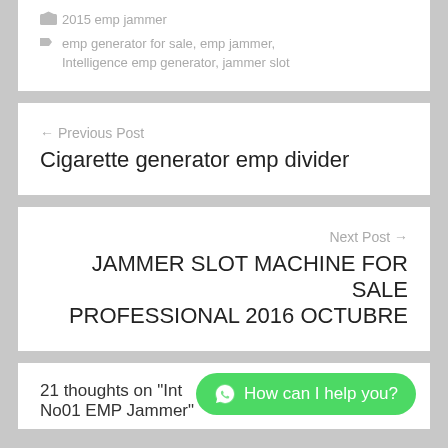2015 emp jammer
emp generator for sale, emp jammer, Intelligence emp generator, jammer slot
← Previous Post
Cigarette generator emp divider
Next Post →
JAMMER SLOT MACHINE for sale PROFESSIONAL 2016 OCTUBRE
21 thoughts on "Intelligence emp generator No01 EMP Jammer"
[Figure (other): WhatsApp chat button with label 'How can I help you?']